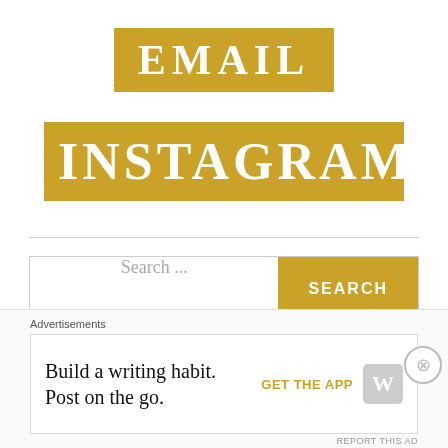[Figure (logo): EMAIL button styled as gold/yellow banner with white serif text]
[Figure (logo): INSTAGRAM button styled as gold/yellow banner with white serif text]
[Figure (screenshot): Search bar with text 'Search ...' and a gold SEARCH button]
RECENT COMMENTS
Advertisements
Build a writing habit. Post on the go.
GET THE APP